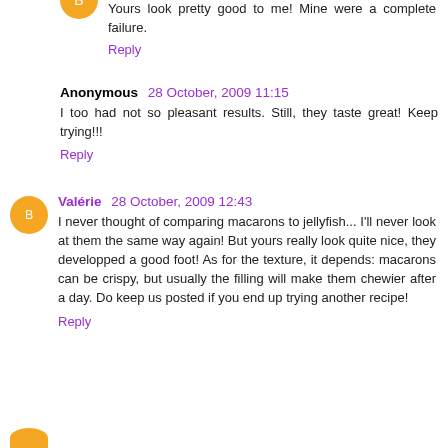Yours look pretty good to me! Mine were a complete failure.
Reply
Anonymous  28 October, 2009 11:15
I too had not so pleasant results. Still, they taste great! Keep trying!!!
Reply
Valérie  28 October, 2009 12:43
I never thought of comparing macarons to jellyfish... I'll never look at them the same way again! But yours really look quite nice, they developped a good foot! As for the texture, it depends: macarons can be crispy, but usually the filling will make them chewier after a day. Do keep us posted if you end up trying another recipe!
Reply